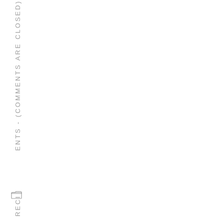ENTS - (COMMENTS ARE CLOSED)
[Figure (other): Small folder/document icon]
RECI